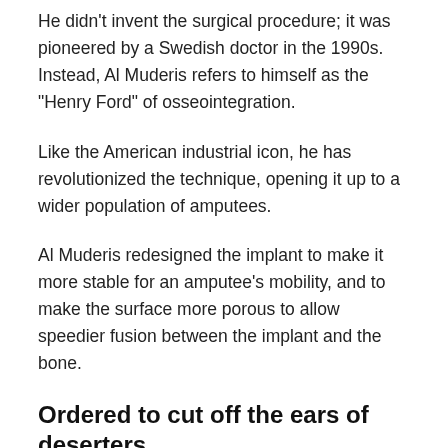He didn't invent the surgical procedure; it was pioneered by a Swedish doctor in the 1990s. Instead, Al Muderis refers to himself as the "Henry Ford" of osseointegration.
Like the American industrial icon, he has revolutionized the technique, opening it up to a wider population of amputees.
Al Muderis redesigned the implant to make it more stable for an amputee's mobility, and to make the surface more porous to allow speedier fusion between the implant and the bone.
Ordered to cut off the ears of deserters